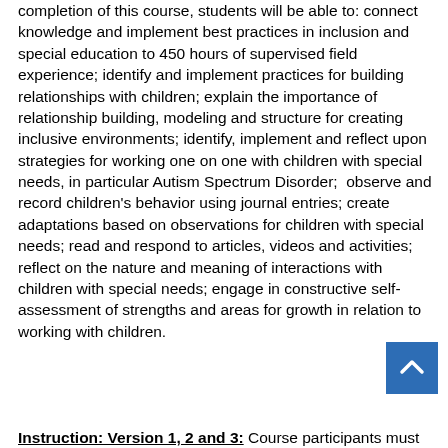completion of this course, students will be able to: connect knowledge and implement best practices in inclusion and special education to 450 hours of supervised field experience; identify and implement practices for building relationships with children; explain the importance of relationship building, modeling and structure for creating inclusive environments; identify, implement and reflect upon strategies for working one on one with children with special needs, in particular Autism Spectrum Disorder;  observe and record children's behavior using journal entries; create adaptations based on observations for children with special needs; read and respond to articles, videos and activities; reflect on the nature and meaning of interactions with children with special needs; engage in constructive self-assessment of strengths and areas for growth in relation to working with children.
Instruction: Version 1, 2 and 3: Course participants must